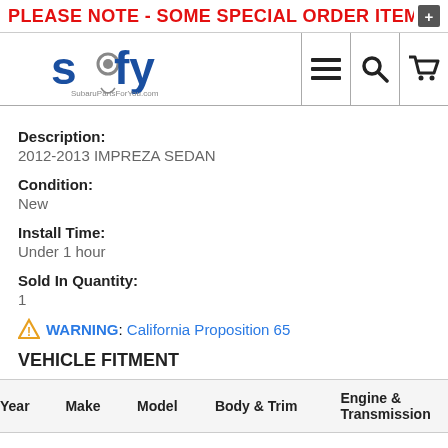PLEASE NOTE - SOME SPECIAL ORDER ITEMS ARE DE
[Figure (logo): SubaruPartsForYou (spfy) logo with navigation icons for menu, search, and cart]
Description:
2012-2013 IMPREZA SEDAN
Condition:
New
Install Time:
Under 1 hour
Sold In Quantity:
1
WARNING: California Proposition 65
VEHICLE FITMENT
| Year | Make | Model | Body & Trim | Engine & Transmission |
| --- | --- | --- | --- | --- |